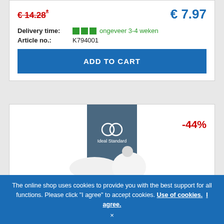€ 14.28* (strikethrough, old price)
€ 7.97 (new price)
Delivery time: ■■■ ongeveer 3-4 weken
Article no.: K794001
ADD TO CART
[Figure (logo): Ideal Standard logo — two interlocking rings on dark blue-grey background with 'Ideal Standard' text]
-44%
[Figure (photo): White plastic toilet seat hinges / cover caps product image]
The online shop uses cookies to provide you with the best support for all functions. Please click "I agree" to accept cookies. Use of cookies. I agree.
×